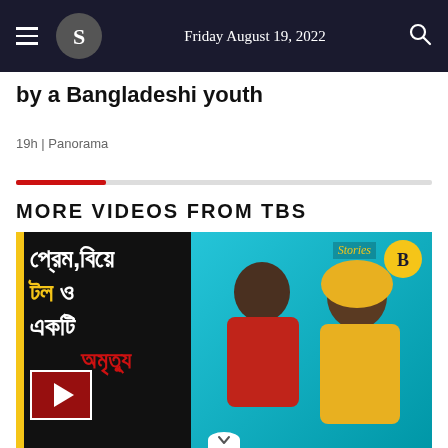Friday August 19, 2022
by a Bangladeshi youth
19h | Panorama
MORE VIDEOS FROM TBS
[Figure (screenshot): Video thumbnail showing two people — a young man in a red/black jersey and a woman in yellow headscarf — on a teal background, with Bengali text overlay reading story title, a yellow TBS logo circle, Stories label, and a play button in the bottom-left corner.]